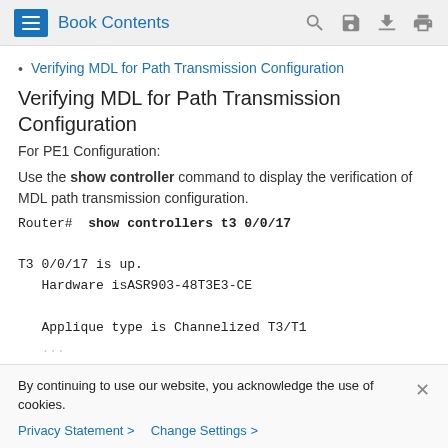Book Contents
Verifying MDL for Path Transmission Configuration
Verifying MDL for Path Transmission Configuration
For PE1 Configuration:
Use the show controller command to display the verification of MDL path transmission configuration.
Router#   show controllers t3 0/0/17

T3 0/0/17 is up.
   Hardware isASR903-48T3E3-CE

   Applique type is Channelized T3/T1
By continuing to use our website, you acknowledge the use of cookies.
Privacy Statement >   Change Settings >